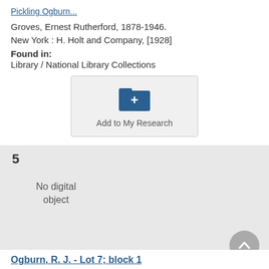Pickling Ogburn...
Groves, Ernest Rutherford, 1878-1946.
New York : H. Holt and Company, [1928]
Found in:
Library / National Library Collections
[Figure (other): Add to My Research button with folder-plus icon]
5
No digital object
Ogburn, R. J. - Lot 7; block 1